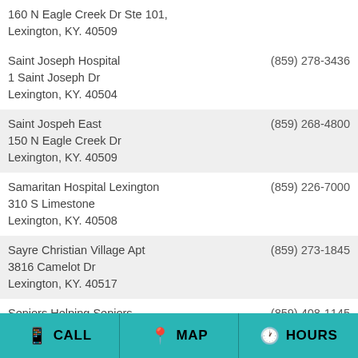| Name / Address | Phone |
| --- | --- |
| 160 N Eagle Creek Dr Ste 101,
Lexington, KY. 40509 |  |
| Saint Joseph Hospital
1 Saint Joseph Dr
Lexington, KY. 40504 | (859) 278-3436 |
| Saint Jospeh East
150 N Eagle Creek Dr
Lexington, KY. 40509 | (859) 268-4800 |
| Samaritan Hospital Lexington
310 S Limestone
Lexington, KY. 40508 | (859) 226-7000 |
| Sayre Christian Village Apt
3816 Camelot Dr
Lexington, KY. 40517 | (859) 273-1845 |
| Seniors Helping Seniors
710 E Main St, Suite #140
Lexington, KY. 40502 | (859) 408-1145 |
| Shepherd Medical Solutions Llc
715 Shaker Dr Ste 108,
Lexington, KY. 40504 | (859) 260-1411 |
CALL  MAP  HOURS